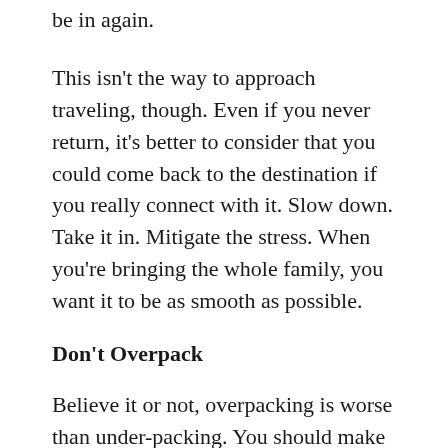be in again.
This isn't the way to approach traveling, though. Even if you never return, it's better to consider that you could come back to the destination if you really connect with it. Slow down. Take it in. Mitigate the stress. When you're bringing the whole family, you want it to be as smooth as possible.
Don't Overpack
Believe it or not, overpacking is worse than under-packing. You should make sure to bring essentials that you could need in a variety of situations, but if you bring too many things you will either leave some stuff behind or suffer with too much weight. When you are in the airport, the train station, or